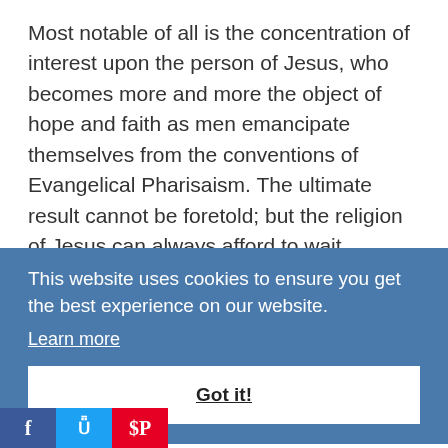Most notable of all is the concentration of interest upon the person of Jesus, who becomes more and more the object of hope and faith as men emancipate themselves from the conventions of Evangelical Pharisaism. The ultimate result cannot be foretold; but the religion of Jesus can always afford to wait.
This website uses cookies to ensure you get the best experience on our website.
Learn more
Got it!